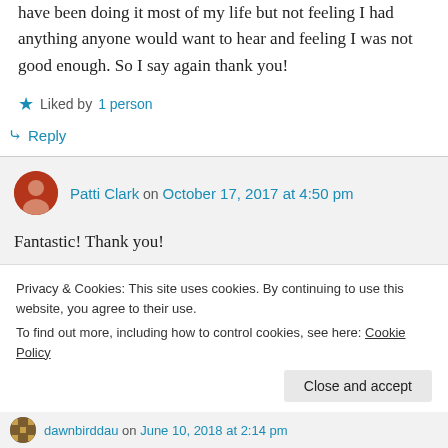have been doing it most of my life but not feeling I had anything anyone would want to hear and feeling I was not good enough. So I say again thank you!
Liked by 1 person
Reply
Patti Clark on October 17, 2017 at 4:50 pm
Fantastic! Thank you!
Privacy & Cookies: This site uses cookies. By continuing to use this website, you agree to their use.
To find out more, including how to control cookies, see here: Cookie Policy
Close and accept
dawnbirddau on June 10, 2018 at 2:14 pm